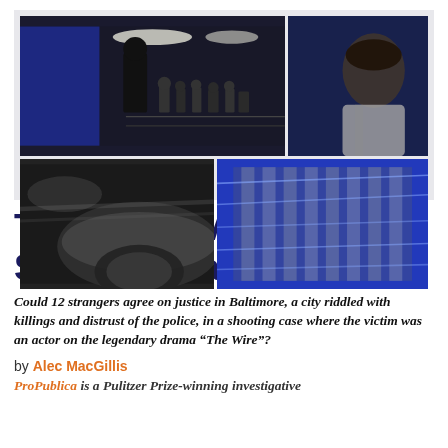[Figure (photo): Collage of four photos: top-left shows a person standing in a courtroom with audience, blue-tinted; top-right shows a person's face in dark/blue tones; bottom-left shows a blurred car scene; bottom-right shows a building exterior with blue digital overlay]
Trial Diary: A Journalist Sits on a Baltimore Jury
Could 12 strangers agree on justice in Baltimore, a city riddled with killings and distrust of the police, in a shooting case where the victim was an actor on the legendary drama “The Wire”?
by Alec MacGillis
ProPublica is a Pulitzer Prize-winning investigative